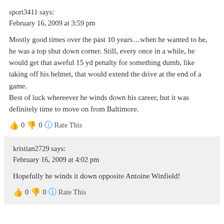sport3411 says:
February 16, 2009 at 3:59 pm
Mostly good times over the past 10 years…when he wanted to be, he was a top shut down corner. Still, every once in a while, he would get that aweful 15 yd penalty for something dumb, like taking off his helmet, that would extend the drive at the end of a game.
Best of luck whereever he winds down his career, but it was definitely time to move on from Baltimore.
👍 0 👎 0 🔵 Rate This
kristian2729 says:
February 16, 2009 at 4:02 pm
Hopefully he winds it down opposite Antoine Winfield!
👍 0 👎 0 🔵 Rate This